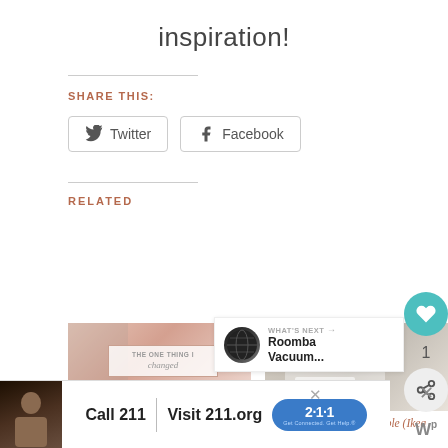inspiration!
SHARE THIS:
Twitter Facebook
RELATED
[Figure (photo): Blog post thumbnail: The One Thing I Changed]
The One Thing I Changed that Made Me a Better Wife and
[Figure (photo): Blog post thumbnail: DIY Farmhouse Coffee Table]
DIY Farmhouse Coffee Table (Ikea Hack)
[Figure (infographic): What's Next banner: Roomba Vacuum...]
[Figure (screenshot): Advertisement: Call 211 | Visit 211.org with 211 badge]